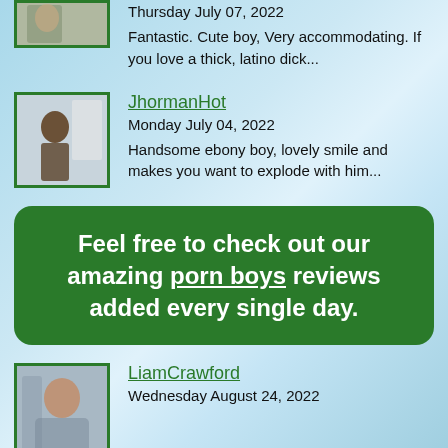Thursday July 07, 2022
Fantastic. Cute boy, Very accommodating. If you love a thick, latino dick...
JhormanHot
Monday July 04, 2022
Handsome ebony boy, lovely smile and makes you want to explode with him...
Feel free to check out our amazing porn boys reviews added every single day.
LiamCrawford
Wednesday August 24, 2022